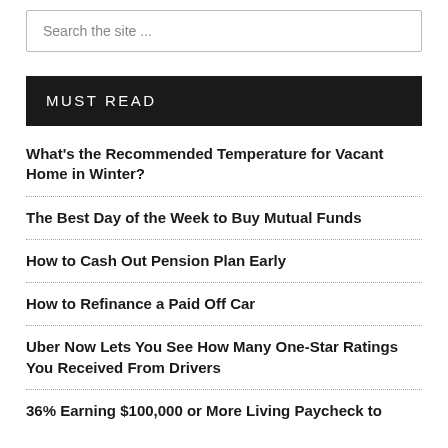Search the site ...
MUST READ
What's the Recommended Temperature for Vacant Home in Winter?
The Best Day of the Week to Buy Mutual Funds
How to Cash Out Pension Plan Early
How to Refinance a Paid Off Car
Uber Now Lets You See How Many One-Star Ratings You Received From Drivers
36% Earning $100,000 or More Living Paycheck to